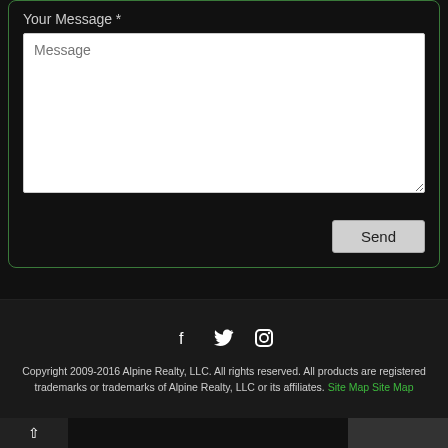Your Message *
[Figure (screenshot): Message textarea input field with placeholder text 'Message' and a Send button]
[Figure (infographic): Social media icons: Facebook (f), Twitter (bird), Instagram (camera)]
Copyright 2009-2016 Alpine Realty, LLC. All rights reserved. All products are registered trademarks or trademarks of Alpine Realty, LLC or its affiliates. Site Map Site Map